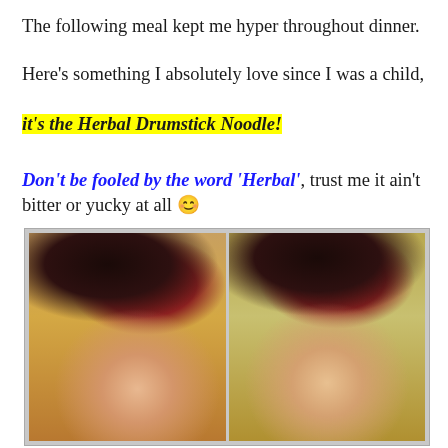The following meal kept me hyper throughout dinner.
Here’s something I absolutely love since I was a child,
it’s the Herbal Drumstick Noodle!
Don’t be fooled by the word ‘Herbal’, trust me it ain’t bitter or yucky at all 😊
[Figure (photo): Two side-by-side close-up selfie photos of a person with dark hair with red highlights, showing their face from a downward angle.]